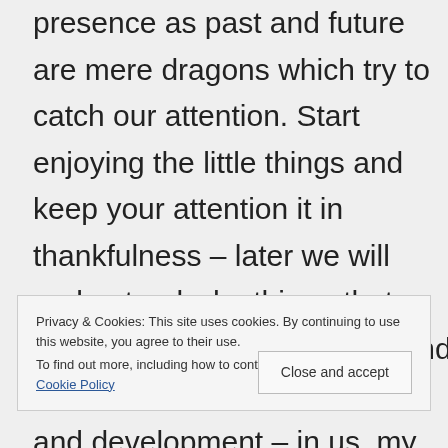presence as past and future are mere dragons which try to catch our attention. Start enjoying the little things and keep your attention it in thankfulness – later we will understand why this or that happened, but it takes time and is a matter of inner progress and development – in us, my friend, is ego and
Privacy & Cookies: This site uses cookies. By continuing to use this website, you agree to their use.
To find out more, including how to control cookies, see here: Cookie Policy
Close and accept